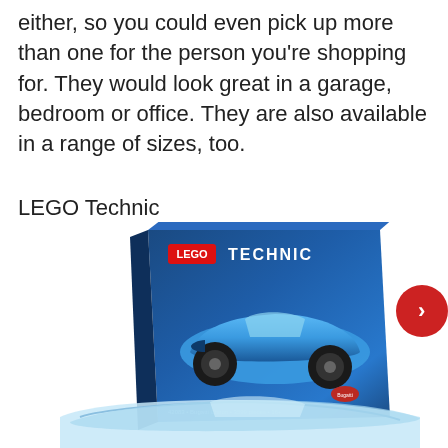either, so you could even pick up more than one for the person you're shopping for. They would look great in a garage, bedroom or office. They are also available in a range of sizes, too.
LEGO Technic
[Figure (photo): LEGO Technic Bugatti Chiron product box in blue showing the car model on the box artwork, with a partially visible blue Bugatti Chiron model car below the box. A red circular arrow button appears on the right side.]